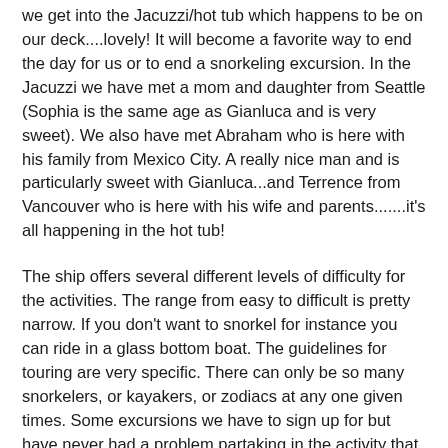we get into the Jacuzzi/hot tub which happens to be on our deck....lovely! It will become a favorite way to end the day for us or to end a snorkeling excursion. In the Jacuzzi we have met a mom and daughter from Seattle (Sophia is the same age as Gianluca and is very sweet). We also have met Abraham who is here with his family from Mexico City. A really nice man and is particularly sweet with Gianluca...and Terrence from Vancouver who is here with his wife and parents.......it's all happening in the hot tub!
The ship offers several different levels of difficulty for the activities. The range from easy to difficult is pretty narrow. If you don't want to snorkel for instance you can ride in a glass bottom boat. The guidelines for touring are very specific. There can only be so many snorkelers, or kayakers, or zodiacs at any one given times. Some excursions we have to sign up for but have never had a problem partaking in the activity that is our top preference.